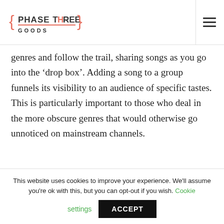PHASE THREE GOODS
genres and follow the trail, sharing songs as you go into the ‘drop box’. Adding a song to a group funnels its visibility to an audience of specific tastes. This is particularly important to those who deal in the more obscure genres that would otherwise go unnoticed on mainstream channels.
Enjoy yourself! This might be the first platform
This website uses cookies to improve your experience. We'll assume you're ok with this, but you can opt-out if you wish. Cookie settings ACCEPT